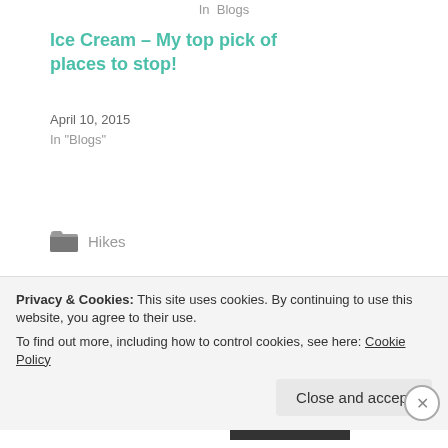In  Blogs
Ice Cream – My top pick of places to stop!
April 10, 2015
In "Blogs"
Hikes
• AGASSIZ
• AGASSIZ HARRISON MUSEUM
• CYCLE TOUR
• FARM
Privacy & Cookies: This site uses cookies. By continuing to use this website, you agree to their use.
To find out more, including how to control cookies, see here: Cookie Policy